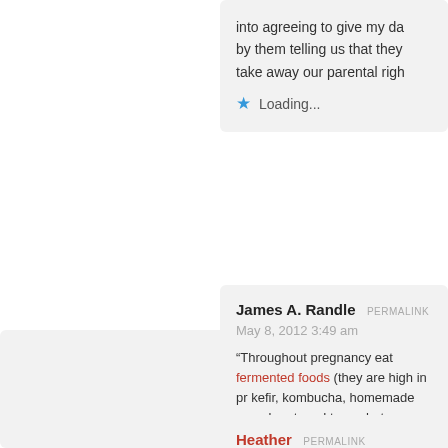into agreeing to give my da by them telling us that they take away our parental righ
Loading...
James A. Randle  PERMALINK
May 8, 2012 3:49 am
“Throughout pregnancy eat fermented foods (they are high in pr kefir, kombucha, homemade sauerkraut, and tempeh, to name a
So you simply means fermented foods are really helpful with re pregnant women?
Loading...
Heather  PERMALINK